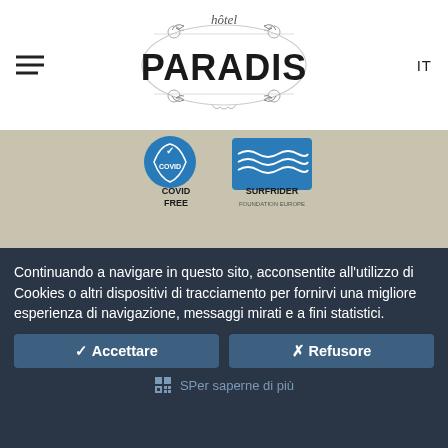hôtel PARADIS — IT
[Figure (logo): Hotel Paradis logo with decorative circular frame and scroll ornaments, text: hôtel PARADIS]
[Figure (logo): Two badge logos: COVID FREE and SURFRIDER FOUNDATION EUROPE]
[Figure (logo): Hotel Paradis logo repeated in content area with decorative frame, text: hôtel PARADIS]
Continuando a navigare in questo sito, acconsentite all'utilizzo di Cookies o altri dispositivi di tracciamento per fornirvi una migliore esperienza di navigazione, messaggi mirati e a fini statistici.
✓ Accettare
✗ Refusore
SPer saperne di più